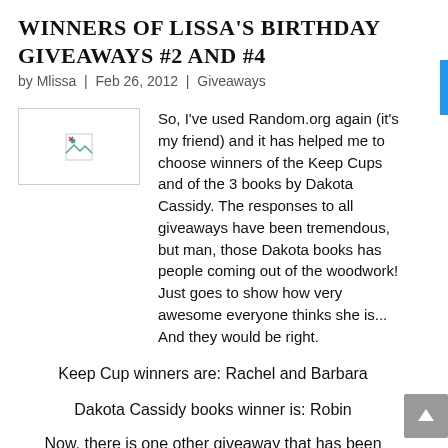Winners of Lissa's Birthday Giveaways #2 and #4
by Mlissa | Feb 26, 2012 | Giveaways
[Figure (photo): Placeholder image with broken image icon]
So, I've used Random.org again (it's my friend) and it has helped me to choose winners of the Keep Cups and of the 3 books by Dakota Cassidy. The responses to all giveaways have been tremendous, but man, those Dakota books has people coming out of the woodwork! Just goes to show how very awesome everyone thinks she is... And they would be right.
Keep Cup winners are: Rachel and Barbara
Dakota Cassidy books winner is: Robin
Now, there is one other giveaway that has been